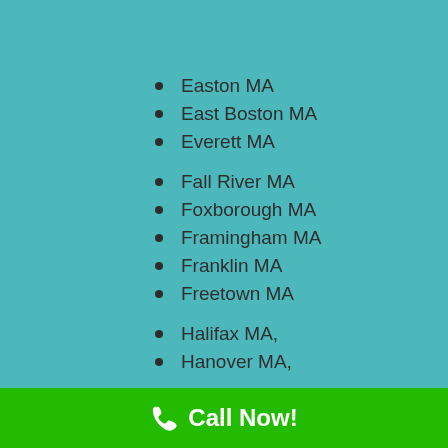Easton MA
East Boston MA
Everett MA
Fall River MA
Foxborough MA
Framingham MA
Franklin MA
Freetown MA
Halifax MA,
Hanover MA,
Call Now!